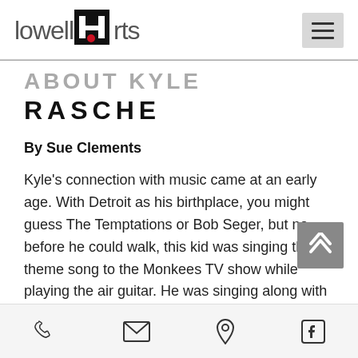lowell Arts
ABOUT KYLE RASCHE
By Sue Clements
Kyle's connection with music came at an early age. With Detroit as his birthplace, you might guess The Temptations or Bob Seger, but no, before he could walk, this kid was singing the theme song to the Monkees TV show while playing the air guitar. He was singing along with the radio, too, imagining he was making the music. His parents paid
phone, email, location, facebook